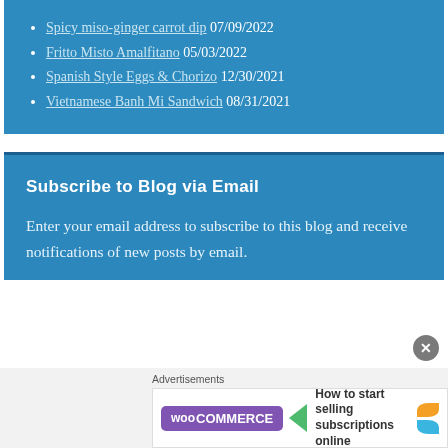Spicy miso-ginger carrot dip 07/09/2022
Fritto Misto Amalfitano 05/03/2022
Spanish Style Eggs & Chorizo 12/30/2021
Vietnamese Banh Mi Sandwich 08/31/2021
Subscribe to Blog via Email
Enter your email address to subscribe to this blog and receive notifications of new posts by email.
[Figure (other): WooCommerce advertisement banner: 'How to start selling subscriptions online']